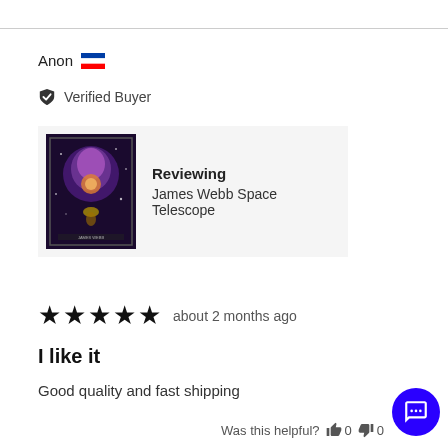Anon 🇸🇮
✔ Verified Buyer
[Figure (illustration): Product thumbnail showing a colorful James Webb Space Telescope art poster with dark background and nebula imagery]
Reviewing
James Webb Space Telescope
★★★★★ about 2 months ago
I like it
Good quality and fast shipping
Was this helpful? 👍 0 👎 0